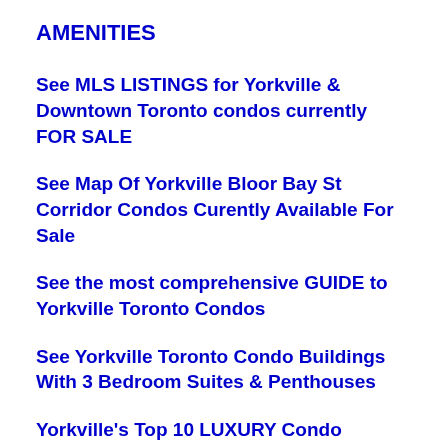AMENITIES
See MLS LISTINGS for Yorkville & Downtown Toronto condos currently FOR SALE
See Map Of Yorkville Bloor Bay St Corridor Condos Curently Available For Sale
See the most comprehensive GUIDE to Yorkville Toronto Condos
See Yorkville Toronto Condo Buildings With 3 Bedroom Suites & Penthouses
Yorkville's Top 10 LUXURY Condo Buildings With